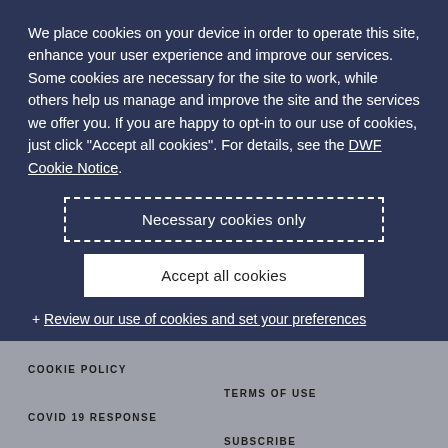We place cookies on your device in order to operate this site, enhance your user experience and improve our services. Some cookies are necessary for the site to work, while others help us manage and improve the site and the services we offer you. If you are happy to opt-in to our use of cookies, just click "Accept all cookies". For details, see the DWF Cookie Notice.
Necessary cookies only
Accept all cookies
+ Review our use of cookies and set your preferences
COOKIE POLICY
TERMS OF USE
COVID 19 RESPONSE
SUBSCRIBE
PRIVACY NOTICE
SITEMAP
LEGAL NOTICES